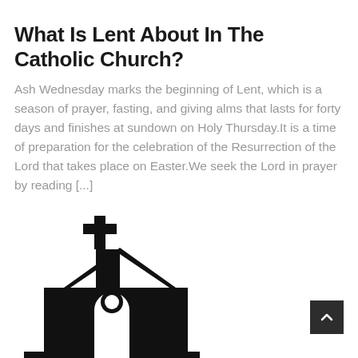What Is Lent About In The Catholic Church?
Ash Wednesday marks the beginning of Lent, which is a season of prayer, fasting, and giving alms that lasts for forty days and finishes at sundown on Holy Thursday.It is a time of preparation for the celebration of the Resurrection of the Lord that takes place on Easter.We seek the Lord in prayer by reading [...]
[Figure (illustration): Black silhouette icon of a church building with a cross on top, a steeple, arched entrance, and a circular window. The church icon is centered-left on the lower portion of the page.]